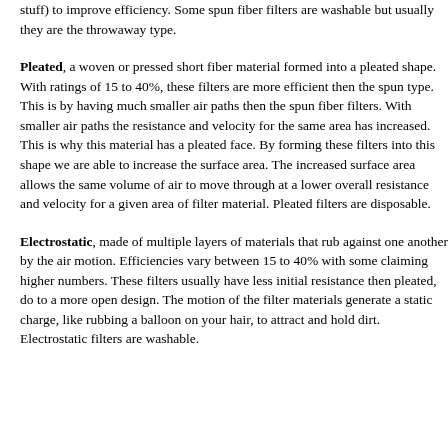stuff) to improve efficiency. Some spun fiber filters are washable but usually they are the throwaway type.
Pleated, a woven or pressed short fiber material formed into a pleated shape. With ratings of 15 to 40%, these filters are more efficient then the spun type. This is by having much smaller air paths then the spun fiber filters. With smaller air paths the resistance and velocity for the same area has increased. This is why this material has a pleated face. By forming these filters into this shape we are able to increase the surface area. The increased surface area allows the same volume of air to move through at a lower overall resistance and velocity for a given area of filter material. Pleated filters are disposable.
Electrostatic, made of multiple layers of materials that rub against one another by the air motion. Efficiencies vary between 15 to 40% with some claiming higher numbers. These filters usually have less initial resistance then pleated, do to a more open design. The motion of the filter materials generate a static charge, like rubbing a balloon on your hair, to attract and hold dirt. Electrostatic filters are washable.